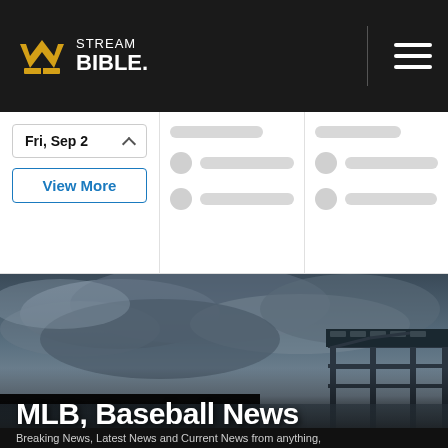[Figure (logo): Stream Bible logo with golden crown/W icon and white text 'STREAM BIBLE.' on dark background with hamburger menu]
Fri, Sep 2
View More
[Figure (screenshot): Skeleton loading placeholders for schedule columns]
[Figure (photo): Baseball stadium with dramatic cloudy sky and stadium lights/structure visible on right side]
MLB, Baseball News
Breaking News, Latest News and Current News from anything,